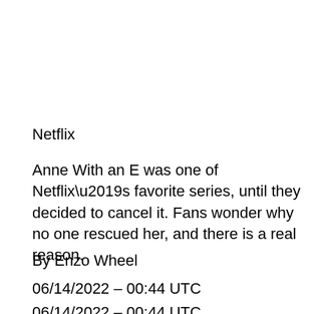Netflix
Anne With an E was one of Netflix’s favorite series, until they decided to cancel it. Fans wonder why no one rescued her, and there is a real reason.
By Enzo Wheel
06/14/2022 – 00:44 UTC
06/14/2022 – 00:44 UTC